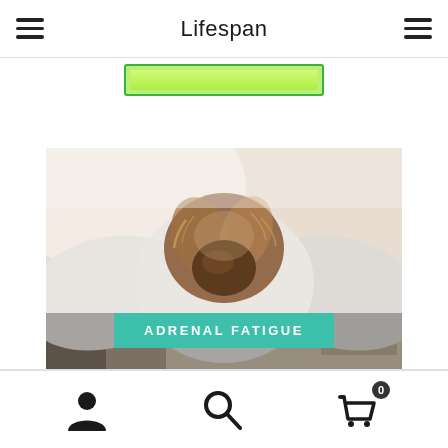Lifespan
[Figure (screenshot): Green search/button bar below the navigation header]
[Figure (photo): Person slumped forward with head down, red hair in bun, wearing white clothing, photographed from behind, suggesting fatigue or stress]
ADRENAL FATIGUE
User icon, Search icon, Cart icon with badge 0